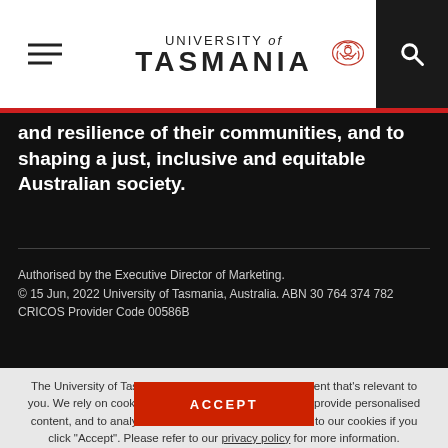University of Tasmania
and resilience of their communities, and to shaping a just, inclusive and equitable Australian society.
Authorised by the Executive Director of Marketing.
© 15 Jun, 2022 University of Tasmania, Australia. ABN 30 764 374 782
CRICOS Provider Code 00586B
The University of Tasmania uses cookies to deliver content that's relevant to you. We rely on cookies to remember your preferences, provide personalised content, and to analyse our website traffic. You consent to our cookies if you click "Accept". Please refer to our privacy policy for more information.
ACCEPT